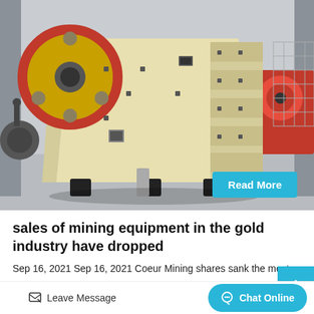[Figure (photo): Industrial jaw crusher machine with cream/beige painted body, large red flywheel on left side, positioned in a factory/workshop setting. Another red machine visible in background on right.]
sales of mining equipment in the gold industry have dropped
Sep 16, 2021 Sep 16, 2021 Coeur Mining shares sank the most given the miner's gold and silver mix. Although primarily a gold miner. Coeur derived 25% of sales f